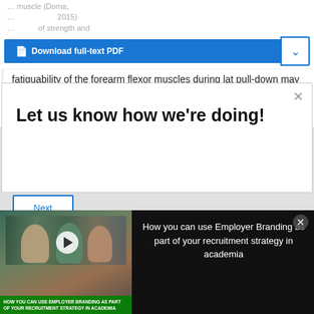[Figure (screenshot): Download full-text PDF button (blue) with dropdown arrow on right]
fatiguability of the forearm flexor muscles during lat pull-down may prevent some optimal strength gains and muscle hypertrophy in the LD muscle. ...
Let us know how we're doing!
[Figure (screenshot): Video thumbnail showing people in a library with overlay text: HOW YOU CAN USE EMPLOYER BRANDING AS PART OF YOUR RECRUITMENT STRATEGY IN ACADEMIA. Right side shows text: How you can use Employer Branding as part of your recruitment strategy in academia]
Next